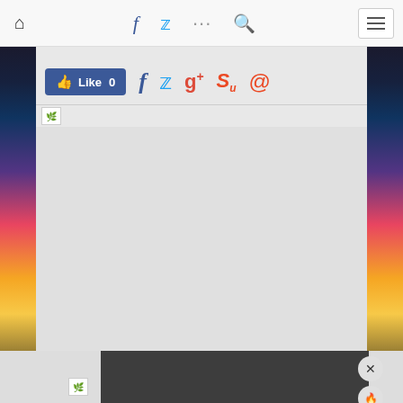[Figure (screenshot): Website navigation bar with home icon, Facebook icon, Twitter bird icon, dots/more icon, search icon, and hamburger menu button]
[Figure (screenshot): Social sharing bar with Facebook Like button showing 0 likes, Facebook icon, Twitter icon, Google+ icon, StumbleUpon icon, and email icon]
[Figure (screenshot): Large content image placeholder area with broken image icon and grey background, with flame and X circular buttons in bottom right]
[Figure (screenshot): Bottom dark card area with X and flame circular buttons on right side and broken image icon on left]